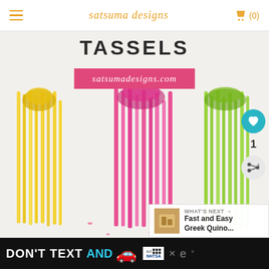satsuma designs  (0)
[Figure (photo): Photo of colorful tissue paper tassels in yellow, hot pink, and lime green hanging down, with 'TASSELS' text at top and a pink banner overlay reading 'satsumadesigns.com'. Pink confetti scattered on white surface below.]
WHAT'S NEXT → Fast and Easy Greek Quino...
DON'T TEXT AND [car emoji] ad NHTSA